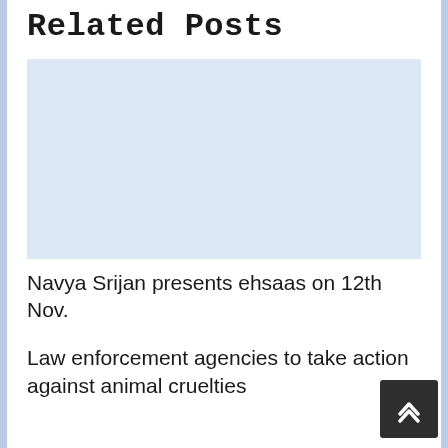Related Posts
[Figure (other): Image placeholder area (light blue background, no content visible)]
Navya Srijan presents ehsaas on 12th Nov.
Law enforcement agencies to take action against animal cruelties